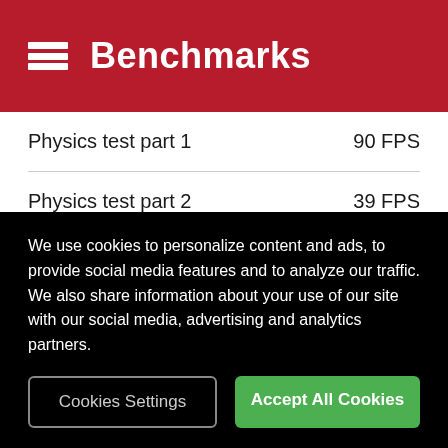Benchmarks
| Test | Result |
| --- | --- |
| Physics test part 1 | 90 FPS |
| Physics test part 2 | 39 FPS |
| Physics test part 3 | 21 FPS |
3DMark for Android Sling Shot Extreme (Vulkan)
We use cookies to personalize content and ads, to provide social media features and to analyze our traffic. We also share information about your use of our site with our social media, advertising and analytics partners.
Cookies Settings
Accept All Cookies